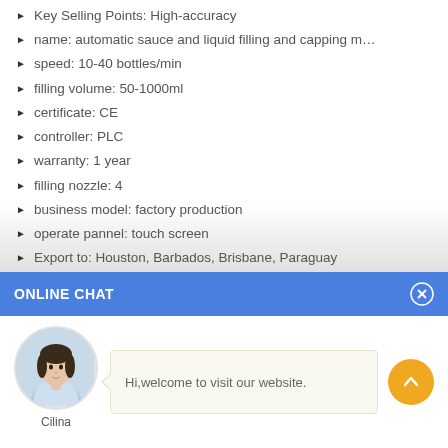Key Selling Points: High-accuracy
name: automatic sauce and liquid filling and capping m...
speed: 10-40 bottles/min
filling volume: 50-1000ml
certificate: CE
controller: PLC
warranty: 1 year
filling nozzle: 4
business model: factory production
operate pannel: touch screen
Export to: Houston, Barbados, Brisbane, Paraguay
ONLINE CHAT
[Figure (illustration): Online chat widget with avatar of a woman named Cilina and a welcome message bubble saying 'Hi,welcome to visit our website.' with an orange scroll-up button.]